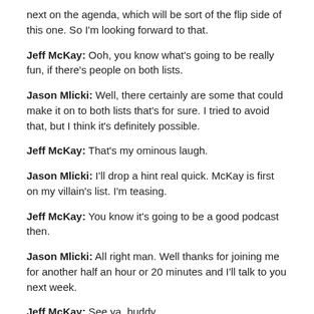next on the agenda, which will be sort of the flip side of this one. So I'm looking forward to that.
Jeff McKay: Ooh, you know what's going to be really fun, if there's people on both lists.
Jason Mlicki: Well, there certainly are some that could make it on to both lists that's for sure. I tried to avoid that, but I think it's definitely possible.
Jeff McKay: That's my ominous laugh.
Jason Mlicki: I'll drop a hint real quick. McKay is first on my villain's list. I'm teasing.
Jeff McKay: You know it's going to be a good podcast then.
Jason Mlicki: All right man. Well thanks for joining me for another half an hour or 20 minutes and I'll talk to you next week.
Jeff McKay: See ya, buddy.